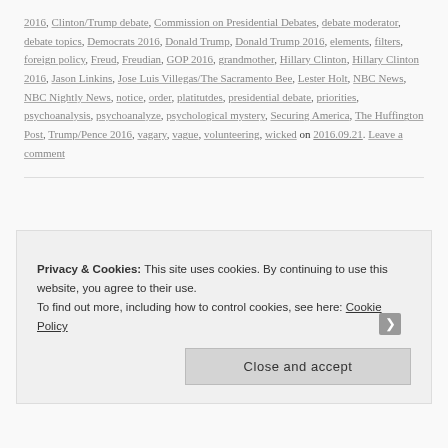2016, Clinton/Trump debate, Commission on Presidential Debates, debate moderator, debate topics, Democrats 2016, Donald Trump, Donald Trump 2016, elements, filters, foreign policy, Freud, Freudian, GOP 2016, grandmother, Hillary Clinton, Hillary Clinton 2016, Jason Linkins, Jose Luis Villegas/The Sacramento Bee, Lester Holt, NBC News, NBC Nightly News, notice, order, platitutdes, presidential debate, priorities, psychoanalysis, psychoanalyze, psychological mystery, Securing America, The Huffington Post, Trump/Pence 2016, vagary, vague, volunteering, wicked on 2016.09.21. Leave a comment
Privacy & Cookies: This site uses cookies. By continuing to use this website, you agree to their use. To find out more, including how to control cookies, see here: Cookie Policy
Close and accept